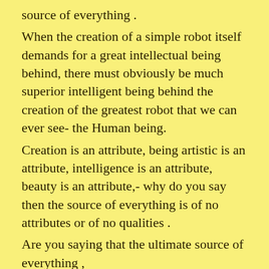source of everything .
When the creation of a simple robot itself demands for a great intellectual being behind, there must obviously be much superior intelligent being behind the creation of the greatest robot that we can ever see- the Human being.
Creation is an attribute, being artistic is an attribute, intelligence is an attribute, beauty is an attribute,- why do you say then the source of everything is of no attributes or of no qualities .
Are you saying that the ultimate source of everything ,
cannot have attributes,
or unable to have attributes